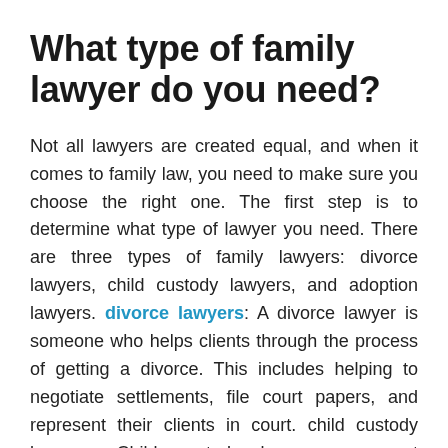What type of family lawyer do you need?
Not all lawyers are created equal, and when it comes to family law, you need to make sure you choose the right one. The first step is to determine what type of lawyer you need. There are three types of family lawyers: divorce lawyers, child custody lawyers, and adoption lawyers. divorce lawyers: A divorce lawyer is someone who helps clients through the process of getting a divorce. This includes helping to negotiate settlements, file court papers, and represent their clients in court. child custody lawyers: Child custody lawyers represent parents in custody disputes. They help negotiate custody agreements, represent parents in court, and help with adoption proceedings. adoption lawyers: Adoption